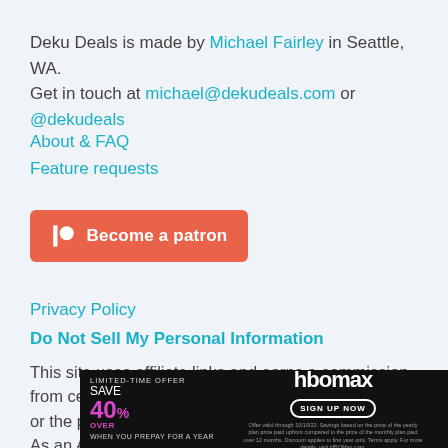Deku Deals is made by Michael Fairley in Seattle, WA. Get in touch at michael@dekudeals.com or @dekudeals
About & FAQ
Feature requests
[Figure (other): Patreon 'Become a patron' button in coral/orange color with Patreon logo icon]
Privacy Policy
Do Not Sell My Personal Information
This site uses affiliate links and earns a commission from certain links. This does not affect your purchases or the price you may pay.
As an Amazon Associate I earn from qualifying purchases.
[Figure (other): HBO Max advertisement banner: LIMITED-TIME OFFER SAVE OVER 40% WHEN YOU PREPAY FOR A YEAR with SIGN UP NOW button]